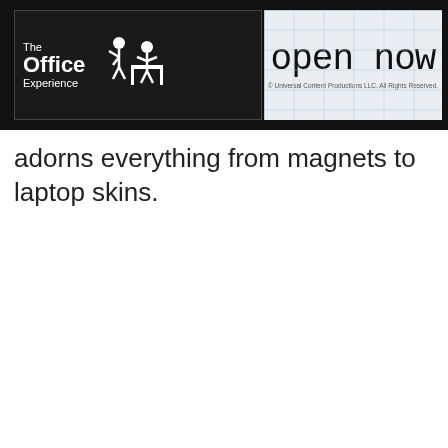[Figure (logo): The Office Experience logo and 'open now' banner with copyright notice on a dark background]
adorns everything from magnets to laptop skins.